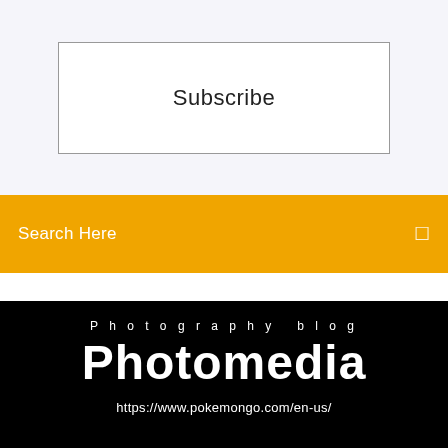Subscribe
Search Here
Photography blog
Photomedia
https://www.pokemongo.com/en-us/